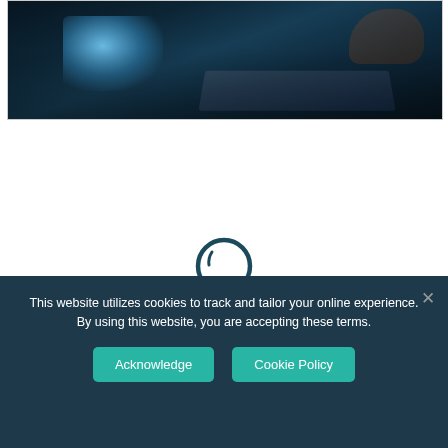[Figure (photo): Dark photo of a computer workstation with a glowing blue monitor and keyboard, person's hand visible, dark teal/navy ambiance]
[Figure (illustration): Lightbulb icon in dark teal/navy outline style, representing innovation or ideas]
Patented Technology
Dimer holds 14 unique patents revolving
This website utilizes cookies to track and tailor your online experience. By using this website, you are accepting these terms.